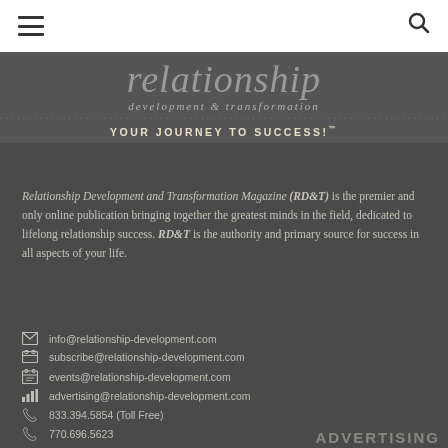navigation header with hamburger menu and search icon
[Figure (logo): Relationship Development & Transformation magazine logo — large italic 'relationship' text, 'development & transformation' subtitle, dotted line divider, 'YOUR JOURNEY TO SUCCESS!™' tagline — dark gray background]
Relationship Development and Transformation Magazine (RD&T) is the premier and only online publication bringing together the greatest minds in the field, dedicated to lifelong relationship success. RD&T is the authority and primary source for success in all aspects of your life.
info@relationship-development.com
subscribe@relationship-development.com
events@relationship-development.com
advertising@relationship-development.com
833.394.5854 (Toll Free)
770.696.5623
ADVERTISING